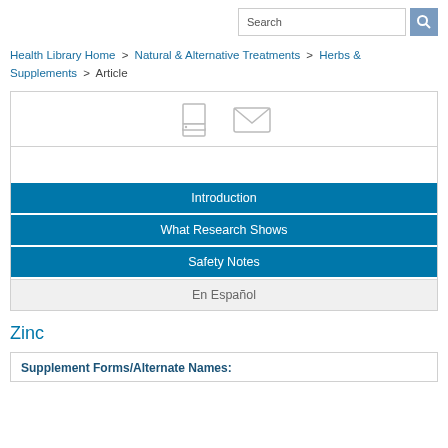Search
Health Library Home > Natural & Alternative Treatments > Herbs & Supplements > Article
[Figure (other): Print and email icons in a toolbar area]
Introduction
What Research Shows
Safety Notes
En Español
Zinc
Supplement Forms/Alternate Names: